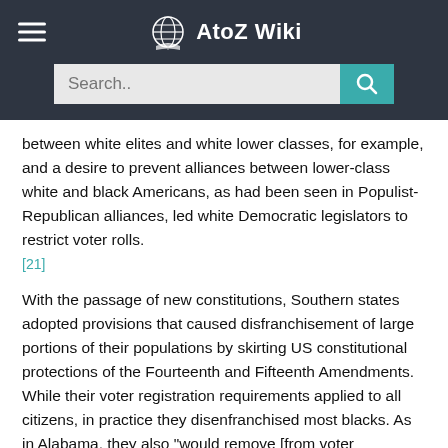AtoZ Wiki
between white elites and white lower classes, for example, and a desire to prevent alliances between lower-class white and black Americans, as had been seen in Populist-Republican alliances, led white Democratic legislators to restrict voter rolls. [21]
With the passage of new constitutions, Southern states adopted provisions that caused disfranchisement of large portions of their populations by skirting US constitutional protections of the Fourteenth and Fifteenth Amendments. While their voter registration requirements applied to all citizens, in practice they disenfranchised most blacks. As in Alabama, they also "would remove [from voter registration rolls] the less educated, less organized, more impoverished whites as well – and that would ensure one-party Democratic rules through most of the 20th century in the South". [17][24]